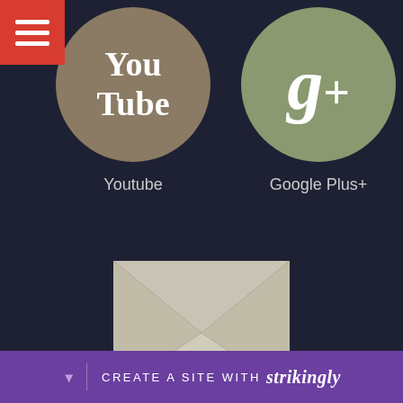[Figure (logo): Red hamburger menu icon in top-left corner]
[Figure (logo): YouTube circular icon with tan/brown background showing 'You Tube' text]
Youtube
[Figure (logo): Google Plus circular icon with olive/green background showing g+ text]
Google Plus+
[Figure (illustration): Email envelope icon with beige/cream color and folded flap lines]
CREATE A SITE WITH strikingly